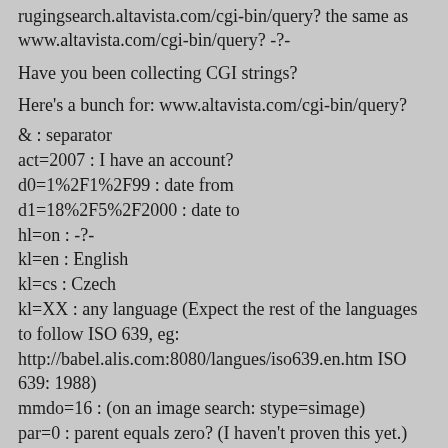rugingsearch.altavista.com/cgi-bin/query? the same as www.altavista.com/cgi-bin/query? -?-
Have you been collecting CGI strings?
Here's a bunch for: www.altavista.com/cgi-bin/query?
& : separator
act=2007 : I have an account?
d0=1%2F1%2F99 : date from
d1=18%2F5%2F2000 : date to
hl=on : -?-
kl=en : English
kl=cs : Czech
kl=XX : any language (Expect the rest of the languages to follow ISO 639, eg: http://babel.alis.com:8080/langues/iso639.en.htm ISO 639: 1988)
mmdo=16 : (on an image search: stype=simage)
par=0 : parent equals zero? (I haven't proven this yet.)
pg=aq : page is advanced query
pg=q : page is simple query (default main page at